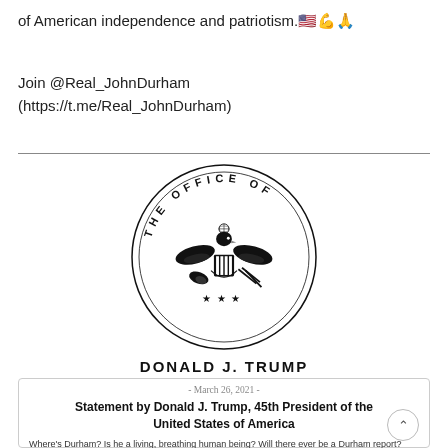of American independence and patriotism.🇺🇸💪🙏
Join @Real_JohnDurham (https://t.me/Real_JohnDurham)
[Figure (logo): The Office Of Donald J. Trump official seal — an eagle with shield, olive branch and arrows, stars below, circular text reading THE OFFICE OF around the top]
DONALD J. TRUMP
- March 26, 2021 -
Statement by Donald J. Trump, 45th President of the United States of America
Where's Durham? Is he a living, breathing human being? Will there ever be a Durham report?